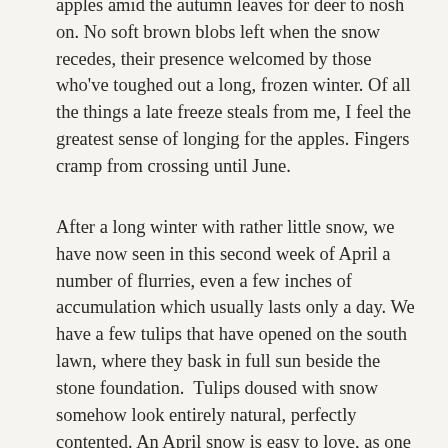apples amid the autumn leaves for deer to nosh on. No soft brown blobs left when the snow recedes, their presence welcomed by those who've toughed out a long, frozen winter. Of all the things a late freeze steals from me, I feel the greatest sense of longing for the apples. Fingers cramp from crossing until June.
After a long winter with rather little snow, we have now seen in this second week of April a number of flurries, even a few inches of accumulation which usually lasts only a day. We have a few tulips that have opened on the south lawn, where they bask in full sun beside the stone foundation. Tulips doused with snow somehow look entirely natural, perfectly contented. An April snow is easy to love, as one is keenly aware that it will not stay and pile up and need to be shoveled. It's especially welcomed this year, to bring up the water table. Spring snowmelt fills our reservoirs and water towers, and starting the year in the hole brings trepidation.